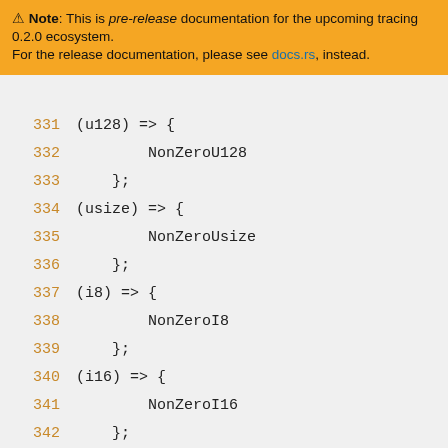⚠ Note: This is pre-release documentation for the upcoming tracing 0.2.0 ecosystem. For the release documentation, please see docs.rs, instead.
331     (u128) => {
332         NonZeroU128
333     };
334     (usize) => {
335         NonZeroUsize
336     };
337     (i8) => {
338         NonZeroI8
339     };
340     (i16) => {
341         NonZeroI16
342     };
343     (i32) => {
344         NonZeroI32
345     };
346     (i64) => {
347         NonZeroI64